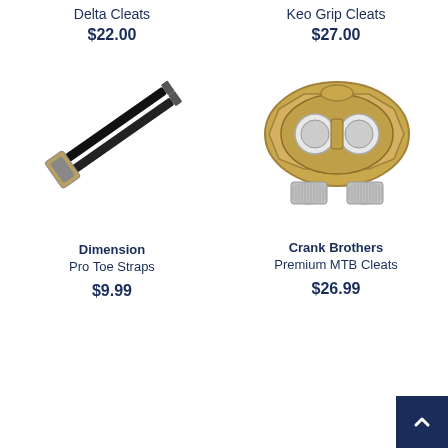Delta Cleats
$22.00
Keo Grip Cleats
$27.00
[Figure (photo): Dimension Pro Toe Straps - black straps with metal buckles]
Dimension
Pro Toe Straps
$9.99
[Figure (photo): Crank Brothers Premium MTB Cleats - gold/brass cleat with two holes and two screws]
Crank Brothers
Premium MTB Cleats
$26.99